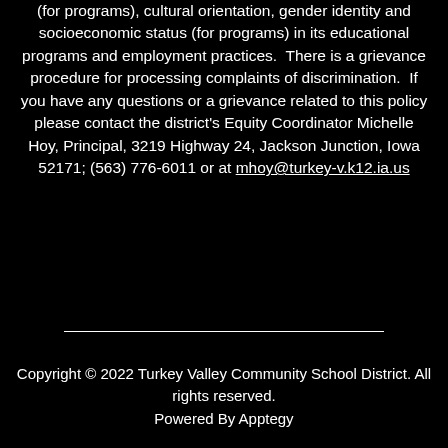(for programs), cultural orientation, gender identity and socioeconomic status (for programs) in its educational programs and employment practices.  There is a grievance procedure for processing complaints of discrimination.  If you have any questions or a grievance related to this policy please contact the district's Equity Coordinator Michelle Hoy, Principal, 3219 Highway 24, Jackson Junction, Iowa 52171; (563) 776-6011 or at mhoy@turkey-v.k12.ia.us
Copyright © 2022 Turkey Valley Community School District. All rights reserved.
Powered By Apptegy